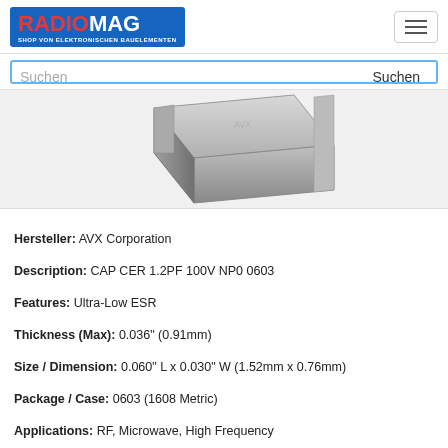RADIOMAG - SHOP VON ELEKTRONISCHEN BAUELEMENTEN
[Figure (photo): Close-up photo of a surface-mount ceramic capacitor (MLCC) in 0603 package, silver/grey metallic color, shown at an angle on a white background.]
Hersteller: AVX Corporation
Description: CAP CER 1.2PF 100V NP0 0603
Features: Ultra-Low ESR
Thickness (Max): 0.036" (0.91mm)
Size / Dimension: 0.060" L x 0.030" W (1.52mm x 0.76mm)
Package / Case: 0603 (1608 Metric)
Applications: RF, Microwave, High Frequency
Operating Temperature: -55°C ~ 125°C
Mounting Type: Surface Mount, MLCC
Temperature Coefficient: C0G, NP0
Voltage - Rated: 100V
Tolerance: ±0.1pF
Capacitance: 1.2pF
auf Bestellung 11 Stücke 🚚
Lieferzeit 21-28 Tag(e)